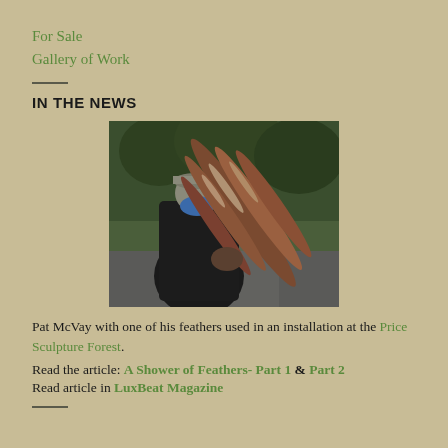For Sale
Gallery of Work
IN THE NEWS
[Figure (photo): Person wearing a blue face covering and grey cap carrying a large sculptural feather artwork made of wood or metal, outdoors in a forested setting.]
Pat McVay with one of his feathers used in an installation at the Price Sculpture Forest.
Read the article: A Shower of Feathers- Part 1 & Part 2
Read article in LuxBeat Magazine